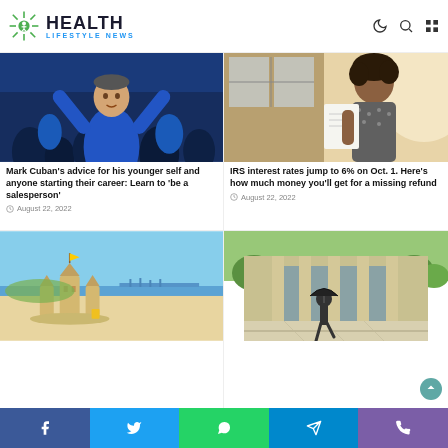HEALTH LIFESTYLE NEWS
[Figure (photo): Mark Cuban celebrating at a basketball game, wearing blue shirt, arms raised]
Mark Cuban's advice for his younger self and anyone starting their career: Learn to 'be a salesperson'
August 22, 2022
[Figure (photo): Woman reading a document near lockers or glass panels in natural light]
IRS interest rates jump to 6% on Oct. 1. Here's how much money you'll get for a missing refund
August 22, 2022
[Figure (photo): Sand castle on a beach with blue sky and water in the background]
[Figure (photo): Person with umbrella walking in front of a large building with columns]
Social share buttons: Facebook, Twitter, WhatsApp, Telegram, Phone